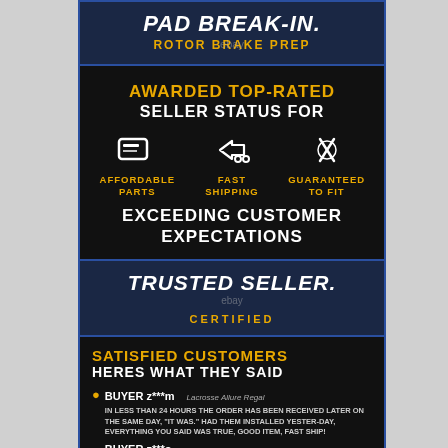[Figure (infographic): PAD BREAK-IN. ROTOR BRAKE PREP banner on dark navy background with blue border]
[Figure (infographic): Awarded Top-Rated Seller Status for Affordable Parts, Fast Shipping, Guaranteed to Fit, Exceeding Customer Expectations — dark textured background with icons]
[Figure (infographic): TRUSTED SELLER. CERTIFIED banner on dark navy background with blue border and ebay watermark]
[Figure (infographic): Satisfied Customers section with buyer reviews from z***m and z***o, dark background]